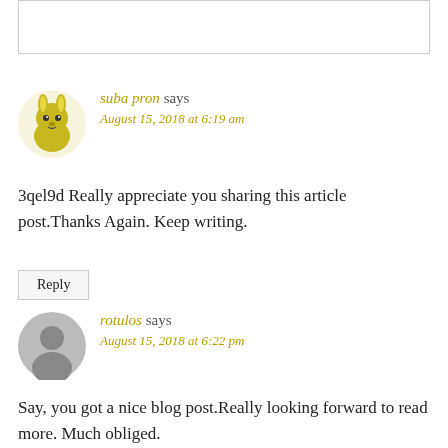[Figure (other): Top bordered box (partial comment input area)]
[Figure (illustration): Avatar icon for user suba pron - cartoon yellow-green rabbit/animal character]
suba pron says
August 15, 2018 at 6:19 am
3qel9d Really appreciate you sharing this article post.Thanks Again. Keep writing.
Reply
[Figure (illustration): Avatar icon for user rotulos - gray circle silhouette of a person]
rotulos says
August 15, 2018 at 6:22 pm
Say, you got a nice blog post.Really looking forward to read more. Much obliged.